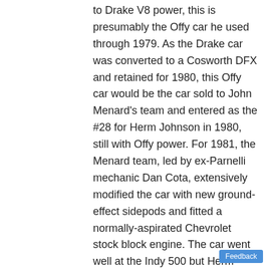to Drake V8 power, this is presumably the Offy car he used through 1979. As the Drake car was converted to a Cosworth DFX and retained for 1980, this Offy car would be the car sold to John Menard's team and entered as the #28 for Herm Johnson in 1980, still with Offy power. For 1981, the Menard team, led by ex-Parnelli mechanic Dan Cota, extensively modified the car with new ground-effect sidepods and fitted a normally-aspirated Chevrolet stock block engine. The car went well at the Indy 500 but Herm Johnson was bumped. To Larry Walker (Indianapolis, IN) for 1982, and entered by his Timberwood Racers at the Indy 500 in 1982 and 1983 as the #88 Frito-Lay Racer, for Billy Scott in 1982 and Roger Rager in 1983, but did not qualify. Subsequent history unknown.